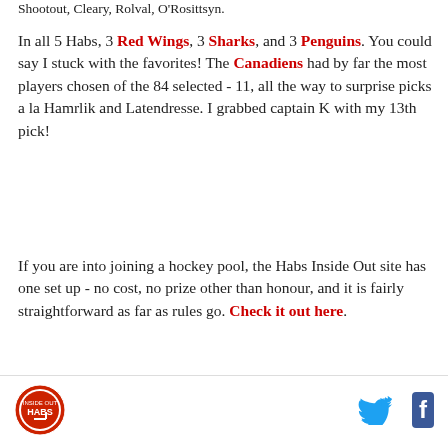Shootout, Cleary, Rolval, O'Rosittsyn.
In all 5 Habs, 3 Red Wings, 3 Sharks, and 3 Penguins. You could say I stuck with the favorites! The Canadiens had by far the most players chosen of the 84 selected - 11, all the way to surprise picks a la Hamrlik and Latendresse. I grabbed captain K with my 13th pick!
If you are into joining a hockey pool, the Habs Inside Out site has one set up - no cost, no prize other than honour, and it is fairly straightforward as far as rules go. Check it out here.
Should be fun stuff!
[Figure (logo): Circular logo with hockey-related imagery, red and blue colors]
[Figure (logo): Twitter bird icon in blue]
[Figure (logo): Facebook f icon in dark blue]